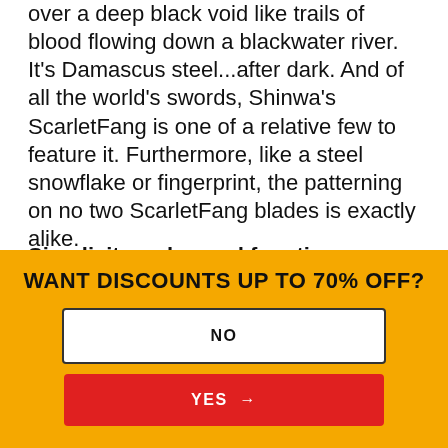over a deep black void like trails of blood flowing down a blackwater river. It's Damascus steel...after dark. And of all the world's swords, Shinwa's ScarletFang is one of a relative few to feature it. Furthermore, like a steel snowflake or fingerprint, the patterning on no two ScarletFang blades is exactly alike.
Simplicity, value and function outshine gaudy frills, showy appointments and luxury price tags
Uniqueness is becoming an ever-scarcer quality in today's sword industry. Every sword maker tries to
WANT DISCOUNTS UP TO 70% OFF?
NO
YES →